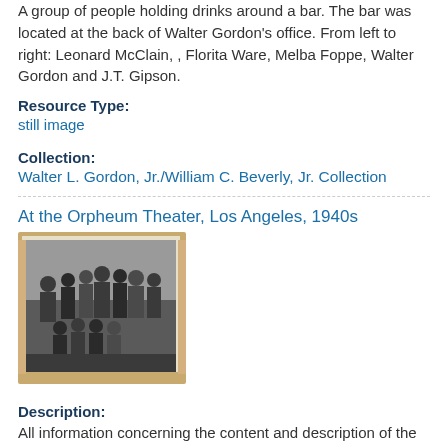A group of people holding drinks around a bar. The bar was located at the back of Walter Gordon's office. From left to right: Leonard McClain, , Florita Ware, Melba Foppe, Walter Gordon and J.T. Gipson.
Resource Type:
still image
Collection:
Walter L. Gordon, Jr./William C. Beverly, Jr. Collection
At the Orpheum Theater, Los Angeles, 1940s
[Figure (photo): A black and white group photo of approximately 10-11 people, some standing and some seated in front, taken at the Orpheum Theater in Los Angeles in the 1940s. The photo appears to be mounted on a backing with orange/tan border.]
Description:
All information concerning the content and description of the image was provided by Walter Gordon.